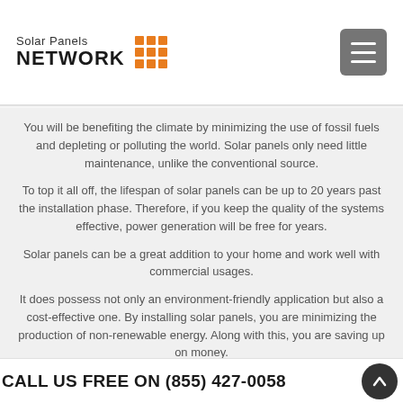Solar Panels NETWORK
You will be benefiting the climate by minimizing the use of fossil fuels and depleting or polluting the world. Solar panels only need little maintenance, unlike the conventional source.
To top it all off, the lifespan of solar panels can be up to 20 years past the installation phase. Therefore, if you keep the quality of the systems effective, power generation will be free for years.
Solar panels can be a great addition to your home and work well with commercial usages.
It does possess not only an environment-friendly application but also a cost-effective one. By installing solar panels, you are minimizing the production of non-renewable energy. Along with this, you are saving up on money.
Solar panels can help fight climate change because they are:
CALL US FREE ON (855) 427-0058
Cost effective
Environment friendly